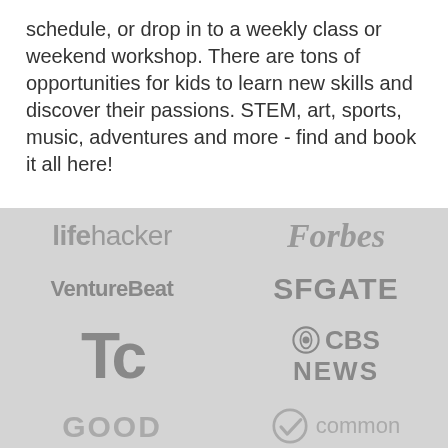schedule, or drop in to a weekly class or weekend workshop. There are tons of opportunities for kids to learn new skills and discover their passions. STEM, art, sports, music, adventures and more - find and book it all here!
[Figure (logo): Press/media logo grid on gray background showing: Lifehacker, Forbes, VentureBeat, SFGATE, TechCrunch (TC), CBS News, GOOD, Common Sense (partially visible)]